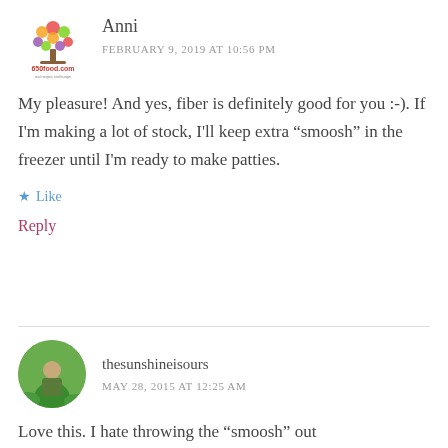[Figure (logo): 650Food.com logo with colorful tree and text]
Anni
FEBRUARY 9, 2019 AT 10:56 PM
My pleasure! And yes, fiber is definitely good for you :-). If I'm making a lot of stock, I'll keep extra “smoosh” in the freezer until I'm ready to make patties.
★ Like
Reply
[Figure (photo): Circular avatar photo of person in green field]
thesunshineisours
MAY 28, 2015 AT 12:25 AM
Love this. I hate throwing the “smoosh” out